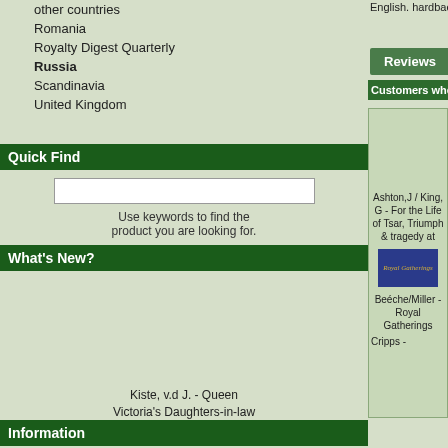other countries
Romania
Royalty Digest Quarterly
Russia
Scandinavia
United Kingdom
Quick Find
Use keywords to find the product you are looking for.
Advanced Search
What's New?
Kiste, v.d J. - Queen Victoria's Daughters-in-law
33.50EUR
Information
Shipping & Returns
English. hardback edition, 2nd hand copy in good condition
[Figure (other): Reviews button]
Customers who bought this product also purchased
Ashton,J / King, G - For the Life of Tsar, Triumph & tragedy at
[Figure (photo): Royal Gatherings book cover image]
Beéche/Miller - Royal Gatherings
Cripps -